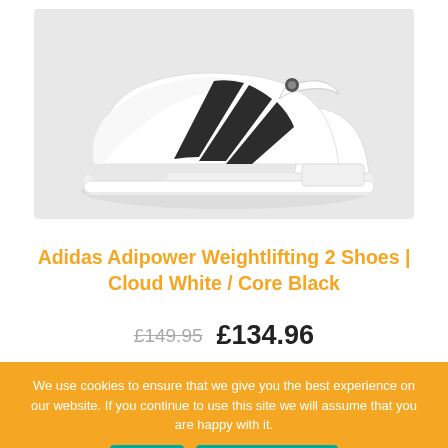[Figure (photo): Adidas Adipower Weightlifting 2 shoe, white with black three-stripe design, side profile view on light grey background]
Adidas Adipower Weightlifting 2 Shoes | Cloud White / Core Black
£149.95  £134.96
We use cookies to ensure that we give you the best experience on our website. If you continue to use this site we will assume that you are happy with it.